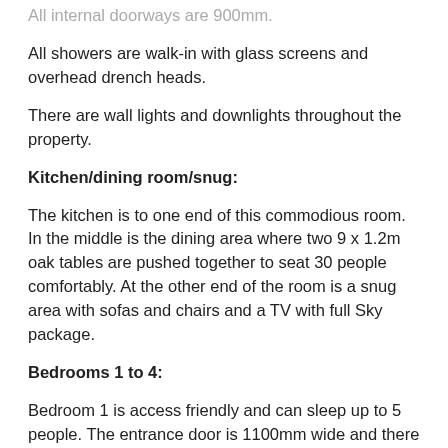All internal doorways are 900mm.
All showers are walk-in with glass screens and overhead drench heads.
There are wall lights and downlights throughout the property.
Kitchen/dining room/snug:
The kitchen is to one end of this commodious room. In the middle is the dining area where two 9 x 1.2m oak tables are pushed together to seat 30 people comfortably. At the other end of the room is a snug area with sofas and chairs and a TV with full Sky package.
Bedrooms 1 to 4:
Bedroom 1 is access friendly and can sleep up to 5 people. The entrance door is 1100mm wide and there is a large walk-in wet room, with shower and bath facilities. A shower chair can be supplied - this must be requested via the Equipment section of your booking. This room has direct access to the front courtyard via double doors and a gently sloping concrete ramp.